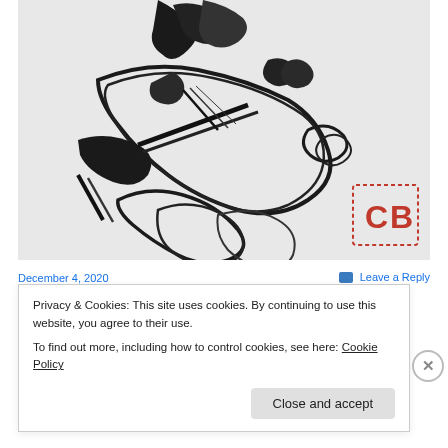[Figure (illustration): Black and white ink drawing of a figure, possibly a person or mythological figure, with bold expressive brushstrokes on a light gray background. A red stamp/seal with letters 'CB' is visible in the lower right corner.]
December 4, 2020
Leave a Reply
Privacy & Cookies: This site uses cookies. By continuing to use this website, you agree to their use.
To find out more, including how to control cookies, see here: Cookie Policy
Close and accept